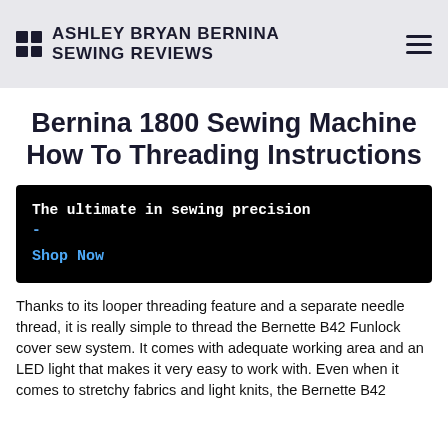ASHLEY BRYAN BERNINA SEWING REVIEWS
Bernina 1800 Sewing Machine How To Threading Instructions
The ultimate in sewing precision
-
Shop Now
Thanks to its looper threading feature and a separate needle thread, it is really simple to thread the Bernette B42 Funlock cover sew system. It comes with adequate working area and an LED light that makes it very easy to work with. Even when it comes to stretchy fabrics and light knits, the Bernette B42